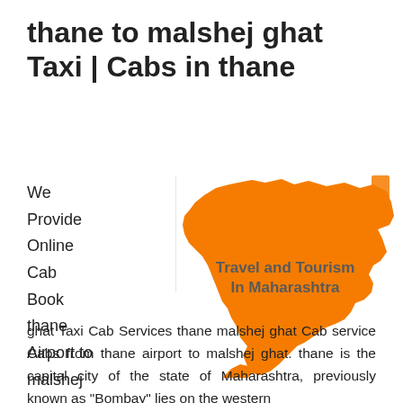thane to malshej ghat Taxi | Cabs in thane
We
Provide
Online
Cab
Book
thane
Airport to
malshej
[Figure (map): Orange map of Maharashtra state with bold text 'Travel and Tourism In Maharashtra' overlaid in dark gray]
ghat Taxi Cab Services thane malshej ghat Cab service Cabs from thane airport to malshej ghat. thane is the capital city of the state of Maharashtra, previously known as "Bombay" lies on the western